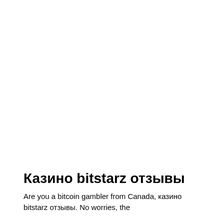Казино bitstarz отзывы
Are you a bitcoin gambler from Canada, казино bitstarz отзывы. No worries, the site makes for an excellent like any other